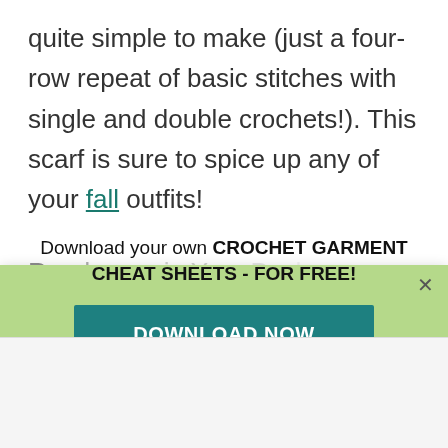quite simple to make (just a four-row repeat of basic stitches with single and double crochets!). This scarf is sure to spice up any of your fall outfits!
Download your own CROCHET GARMENT CHEAT SHEETS - FOR FREE!
DOWNLOAD NOW